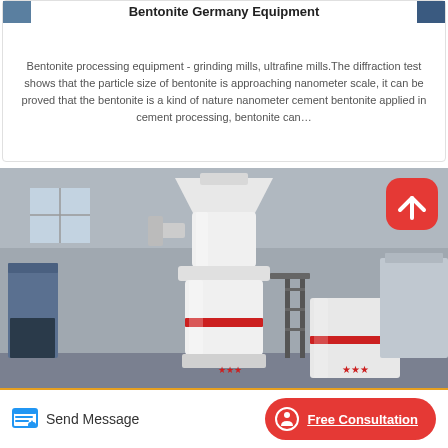Bentonite Germany Equipment
Bentonite processing equipment - grinding mills, ultrafine mills.The diffraction test shows that the particle size of bentonite is approaching nanometer scale, it can be proved that the bentonite is a kind of nature nanometer cement bentonite applied in cement processing, bentonite can…
[Figure (photo): Industrial grinding mill machine in a factory setting. Large white cylindrical grinding mill with red accent bands, surrounded by industrial equipment and metal structures.]
Send Message
Free Consultation